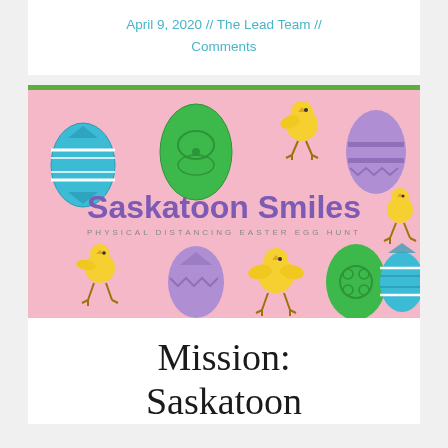April 9, 2020 // The Lead Team // Comments
[Figure (illustration): Pink banner with Easter eggs and chicks, text reads 'Saskatoon Smiles PHYSICAL DISTANCING EASTER EGG HUNT']
Mission: Saskatoon